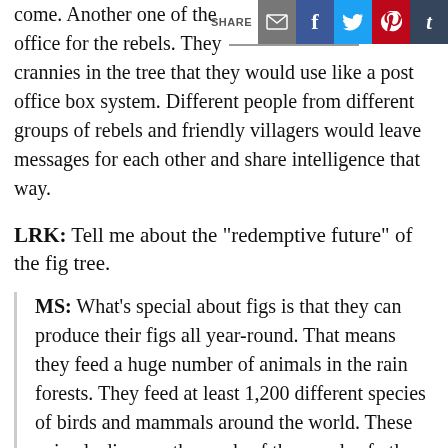[Figure (other): Social share bar with email, Facebook, Twitter, Pinterest, and Tumblr icons]
come. Another one of the office for the rebels. They ... crannies in the tree that they would use like a post office box system. Different people from different groups of rebels and friendly villagers would leave messages for each other and share intelligence that way.
LRK: Tell me about the "redemptive future" of the fig tree.
MS: What's special about figs is that they can produce their figs all year-round. That means they feed a huge number of animals in the rain forests. They feed at least 1,200 different species of birds and mammals around the world. These animals disperse the seeds of thousands of other species. By planting fig trees, you can encourage other things to come back and reforest areas that have been damaged by logging or by mining. This is happening around the world. It's